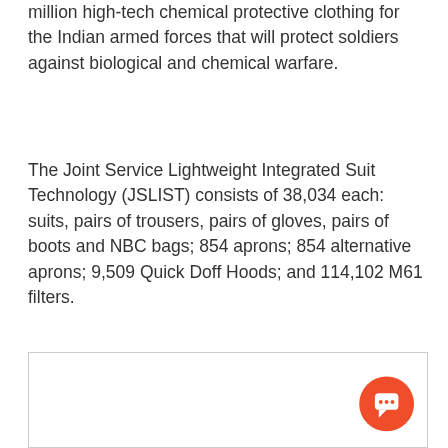million high-tech chemical protective clothing for the Indian armed forces that will protect soldiers against biological and chemical warfare.
The Joint Service Lightweight Integrated Suit Technology (JSLIST) consists of 38,034 each: suits, pairs of trousers, pairs of gloves, pairs of boots and NBC bags; 854 aprons; 854 alternative aprons; 9,509 Quick Doff Hoods; and 114,102 M61 filters.
[Figure (other): Empty bordered box with a chat/comment button icon (orange circle with speech bubble) in the bottom-right corner.]